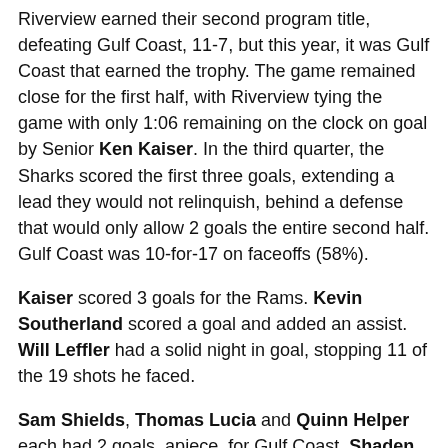Riverview earned their second program title, defeating Gulf Coast, 11-7, but this year, it was Gulf Coast that earned the trophy. The game remained close for the first half, with Riverview tying the game with only 1:06 remaining on the clock on goal by Senior Ken Kaiser. In the third quarter, the Sharks scored the first three goals, extending a lead they would not relinquish, behind a defense that would only allow 2 goals the entire second half. Gulf Coast was 10-for-17 on faceoffs (58%).
Kaiser scored 3 goals for the Rams. Kevin Southerland scored a goal and added an assist. Will Leffler had a solid night in goal, stopping 11 of the 19 shots he faced.
Sam Shields, Thomas Lucia and Quinn Helper each had 2 goals, apiece, for Gulf Coast. Shaden Shields had 12 saves in goal for the Sharks.
The Rams will find out this weekend if their MaxPreps PowerRanking will provide them with an “at-large” bid for the